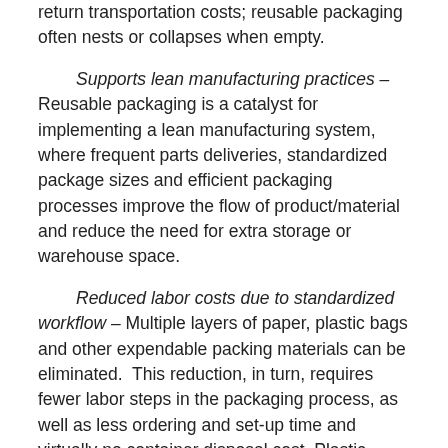return transportation costs; reusable packaging often nests or collapses when empty.
Supports lean manufacturing practices – Reusable packaging is a catalyst for implementing a lean manufacturing system, where frequent parts deliveries, standardized package sizes and efficient packaging processes improve the flow of product/material and reduce the need for extra storage or warehouse space.
Reduced labor costs due to standardized workflow – Multiple layers of paper, plastic bags and other expendable packing materials can be eliminated. This reduction, in turn, requires fewer labor steps in the packaging process, as well as less ordering and set-up time and virtually no container disposal cost. Plastic containers securely stack higher than expendable ones and nest or collapse to take up less floor space, making inventory management and material handling easier. Receiving and inspection of deliveries are faster and easier with standardized packaging and consistent unit